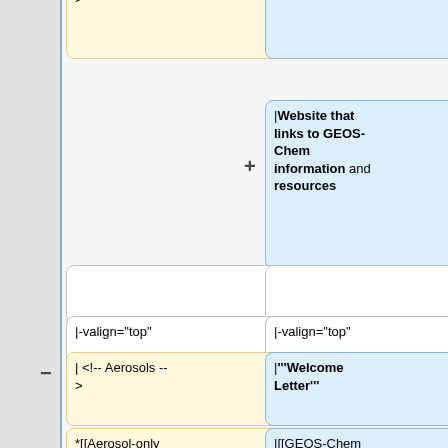[Figure (flowchart): A wiki diff/comparison flowchart showing code elements in yellow boxes and description elements in blue boxes, connected by lines with plus and minus symbols. Elements include: 'Evaluation</big>', 'geos-chem.org]', '|Website that links to GEOS-Chem information and resources', '|-valign="top"' (two instances), '| <!-- Aerosols -->', '|"""Welcome Letter"""', '*[[Aerosol-only simulation]]', '|[[GEOS-Chem welcome letter for new users]] (wiki page)', '*[[Aerosol optical properties]]', '|A welcome letter for new users of GEOS-Chem']